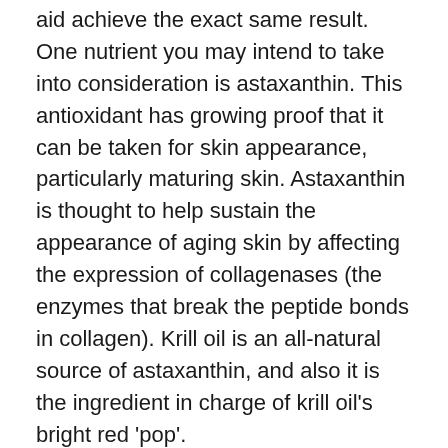aid achieve the exact same result. One nutrient you may intend to take into consideration is astaxanthin. This antioxidant has growing proof that it can be taken for skin appearance, particularly maturing skin. Astaxanthin is thought to help sustain the appearance of aging skin by affecting the expression of collagenases (the enzymes that break the peptide bonds in collagen). Krill oil is an all-natural source of astaxanthin, and also it is the ingredient in charge of krill oil's bright red 'pop'.
Brain.
A greater intake of omega-3 fatty acids EPA and also DHA has actually shown prospective brain health benefits for at any age if both...